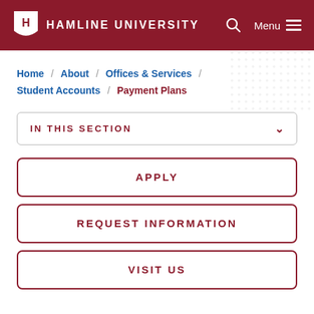HAMLINE UNIVERSITY
Home / About / Offices & Services / Student Accounts / Payment Plans
IN THIS SECTION
APPLY
REQUEST INFORMATION
VISIT US